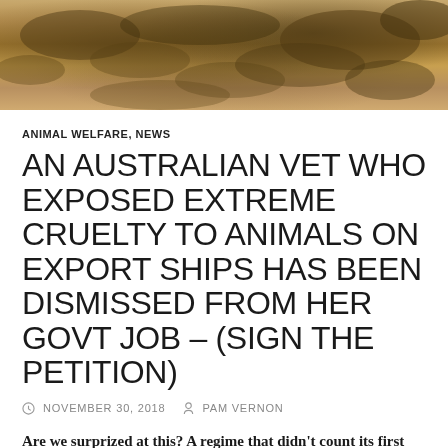[Figure (photo): Close-up photograph of rocky or earthy terrain in brown and tan tones, appearing to show an arid or desert-like surface texture]
ANIMAL WELFARE, NEWS
AN AUSTRALIAN VET WHO EXPOSED EXTREME CRUELTY TO ANIMALS ON EXPORT SHIPS HAS BEEN DISMISSED FROM HER GOVT JOB – (SIGN THE PETITION)
NOVEMBER 30, 2018   PAM VERNON
Are we surprized at this? A regime that didn't count its first